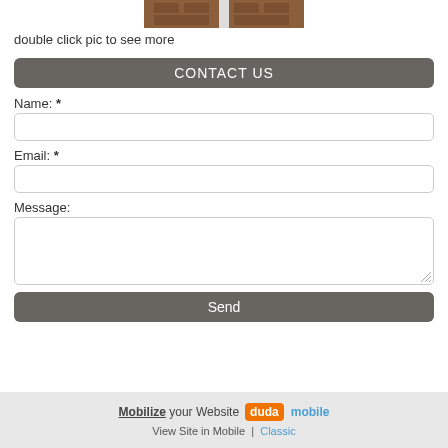[Figure (photo): Partial view of wooden doors at the top of the page]
double click pic to see more
CONTACT US
Name: *
Email: *
Message:
Send
Mobilize your Website  duda mobile  View Site in Mobile | Classic